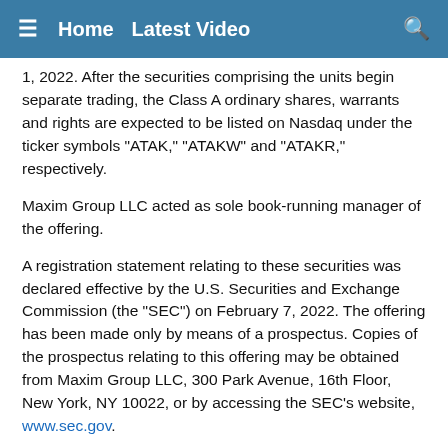≡   Home   Latest Video   🔍
1, 2022. After the securities comprising the units begin separate trading, the Class A ordinary shares, warrants and rights are expected to be listed on Nasdaq under the ticker symbols "ATAK," "ATAKW" and "ATAKR," respectively.
Maxim Group LLC acted as sole book-running manager of the offering.
A registration statement relating to these securities was declared effective by the U.S. Securities and Exchange Commission (the "SEC") on February 7, 2022. The offering has been made only by means of a prospectus. Copies of the prospectus relating to this offering may be obtained from Maxim Group LLC, 300 Park Avenue, 16th Floor, New York, NY 10022, or by accessing the SEC's website, www.sec.gov.